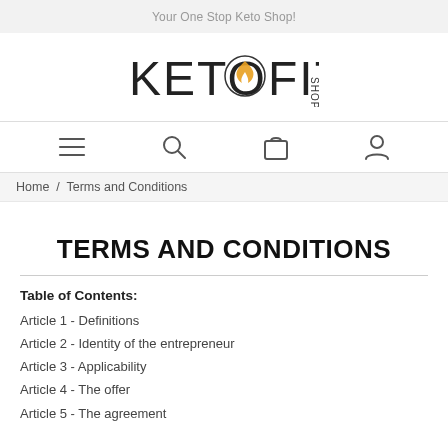Your One Stop Keto Shop!
[Figure (logo): KetoFit Shop logo with flame icon inside the letter O]
[Figure (infographic): Navigation bar with hamburger menu, search, cart, and user account icons]
Home / Terms and Conditions
TERMS AND CONDITIONS
Table of Contents:
Article 1 - Definitions
Article 2 - Identity of the entrepreneur
Article 3 - Applicability
Article 4 - The offer
Article 5 - The agreement